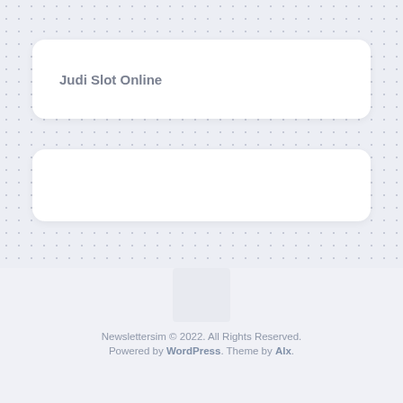Judi Slot Online
[Figure (other): Empty white rounded card, no content]
[Figure (other): Bottom section with light gray background and a small rectangle notch element]
Newslettersim © 2022. All Rights Reserved. Powered by WordPress. Theme by Alx.